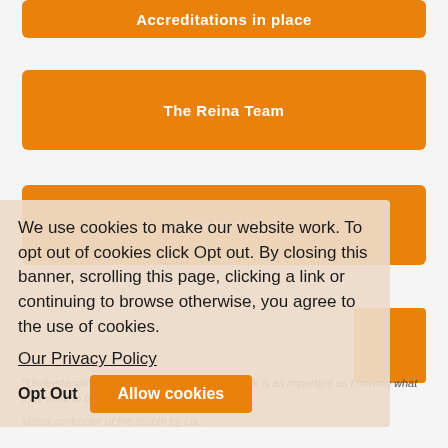Accreditations in place
The Reina Team
Contact Us
We use cookies to make our website work. To opt out of cookies click Opt out. By closing this banner, scrolling this page, clicking a link or continuing to browse otherwise, you agree to the use of cookies.
Our Privacy Policy
Opt Out
Allow cookies
"Understanding how our customers want to work is as important as knowing what they want to build!"
Voted contractor of the month by Lo...